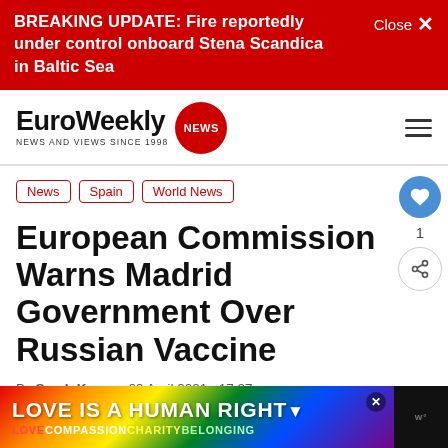BREAKING UPDATE: Fire reportedly under control onboard Stena Scandica in Baltic Sea
[Figure (logo): EuroWeekly NEWS logo — bold wordmark with red circular badge reading NEWS, tagline: NEWS AND VIEWS SINCE 1998]
News
Spain
World News
European Commission Warns Madrid Government Over Russian Vaccine
By Sarah Keane · 09 April 2021 · 17:27
[Figure (infographic): Advertisement banner: LOVE IS A HUMAN RIGHT with rainbow gradient background. Sub-text: LOVE COMPASSION CHARITY BELONGING]